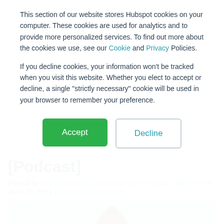This section of our website stores Hubspot cookies on your computer. These cookies are used for analytics and to provide more personalized services. To find out more about the cookies we use, see our Cookie and Privacy Policies.
If you decline cookies, your information won't be tracked when you visit this website. Whether you elect to accept or decline, a single "strictly necessary" cookie will be used in your browser to remember your preference.
Accept
Decline
[Podcast]
Posted by Christine Parent, Associate Vice President, MEDITECH
June 10, 2021 | Podcast, Coronavirus
[Figure (photo): Photo of a person with hair in a bun against a light blue/grey background]